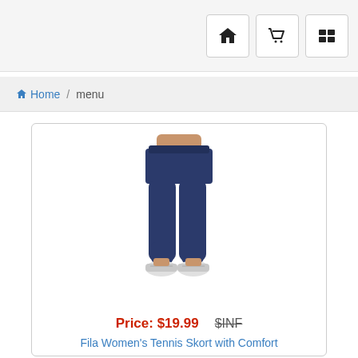Navigation bar with home, cart, and menu icons
Home / menu
[Figure (photo): Woman wearing navy blue Fila Tennis Skort with Comfort — a mini skirt over navy capri leggings, with white sneakers, shown from waist down]
Price: $19.99   $INF
Fila Women's Tennis Skort with Comfort